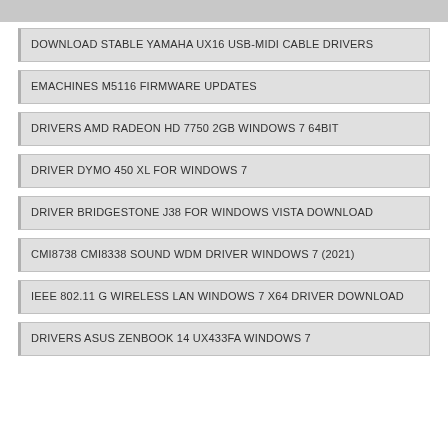DOWNLOAD STABLE YAMAHA UX16 USB-MIDI CABLE DRIVERS
EMACHINES M5116 FIRMWARE UPDATES
DRIVERS AMD RADEON HD 7750 2GB WINDOWS 7 64BIT
DRIVER DYMO 450 XL FOR WINDOWS 7
DRIVER BRIDGESTONE J38 FOR WINDOWS VISTA DOWNLOAD
CMI8738 CMI8338 SOUND WDM DRIVER WINDOWS 7 (2021)
IEEE 802.11 G WIRELESS LAN WINDOWS 7 X64 DRIVER DOWNLOAD
DRIVERS ASUS ZENBOOK 14 UX433FA WINDOWS 7